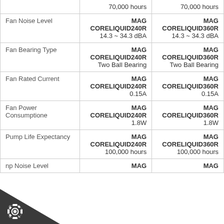|  | Column 1 | Column 2 |
| --- | --- | --- |
|  | 70,000 hours | 70,000 hours |
| Fan Noise Level | MAG
CORELIQUID240R
14.3 ~ 34.3 dBA | MAG
CORELIQUID360R
14.3 ~ 34.3 dBA |
| Fan Bearing Type | MAG
CORELIQUID240R
Two Ball Bearing | MAG
CORELIQUID360R
Two Ball Bearing |
| Fan Rated Current | MAG
CORELIQUID240R
0.15A | MAG
CORELIQUID360R
0.15A |
| Fan Power Consumptione | MAG
CORELIQUID240R
1.8W | MAG
CORELIQUID360R
1.8W |
| Pump Life Expectancy | MAG
CORELIQUID240R
100,000 hours | MAG
CORELIQUID360R
100,000 hours |
| np Noise Level | MAG | MAG |